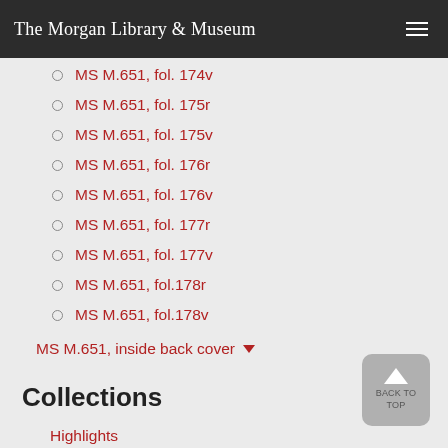The Morgan Library & Museum
MS M.651, fol. 174v
MS M.651, fol. 175r
MS M.651, fol. 175v
MS M.651, fol. 176r
MS M.651, fol. 176v
MS M.651, fol. 177r
MS M.651, fol. 177v
MS M.651, fol.178r
MS M.651, fol.178v
MS M.651, inside back cover
Collections
Highlights